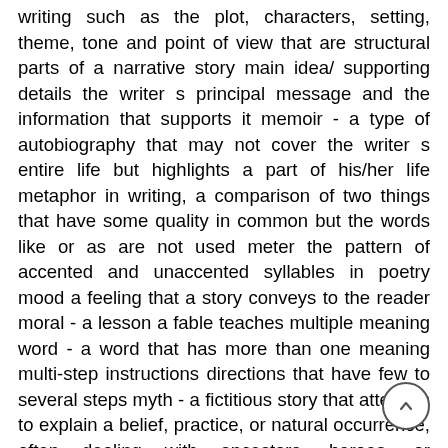writing such as the plot, characters, setting, theme, tone and point of view that are structural parts of a narrative story main idea/ supporting details the writer s principal message and the information that supports it memoir - a type of autobiography that may not cover the writer s entire life but highlights a part of his/her life metaphor in writing, a comparison of two things that have some quality in common but the words like or as are not used meter the pattern of accented and unaccented syllables in poetry mood a feeling that a story conveys to the reader moral - a lesson a fable teaches multiple meaning word - a word that has more than one meaning multi-step instructions directions that have few to several steps myth - a fictitious story that attempts to explain a belief, practice, or natural occurrence, often dealing with ancestors, heroes, or supernatural beings narrative text - a written account of events that tells a story outcome the conclusion of action that ends a story onomatopoeia the use of words whose sound suggests their meaning (i.e., hiss, bang, thud) paradox a true statement that seems to contradict itself paraphrase a restatement of text in your own words participle a verb form usually ending in ing or ed used with an auxiliary verb to indicate certain tenses and that can